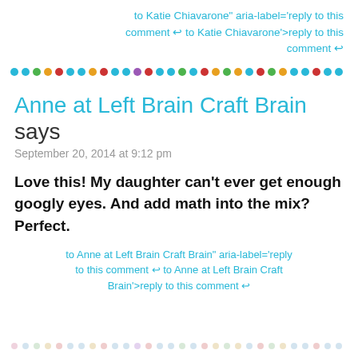to Katie Chiavarone" aria-label='reply to this comment ↩ to Katie Chiavarone'>reply to this comment ↩
[Figure (other): Colorful dot divider row]
Anne at Left Brain Craft Brain says
September 20, 2014 at 9:12 pm
Love this! My daughter can't ever get enough googly eyes. And add math into the mix? Perfect.
to Anne at Left Brain Craft Brain" aria-label='reply to this comment ↩ to Anne at Left Brain Craft Brain'>reply to this comment ↩
[Figure (other): Colorful dot divider row (faded)]